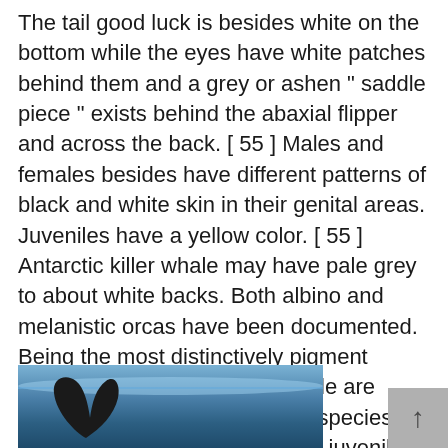The tail good luck is besides white on the bottom while the eyes have white patches behind them and a grey or ashen " saddle piece " exists behind the abaxial flipper and across the back. [ 55 ] Males and females besides have different patterns of black and white skin in their genital areas. Juveniles have a yellow color. [ 55 ] Antarctic killer whale may have pale grey to about white backs. Both albino and melanistic orcas have been documented. Being the most distinctively pigment cetacean, [ 55 ] adult killer whale are rarely confused with any other species. When seen from a outdistance, juveniles can be confused with false killer whale or Risso 's dolphins. [ 59 ]
[Figure (photo): Partial view of an orca (killer whale) dorsal fin emerging from blue ocean water]